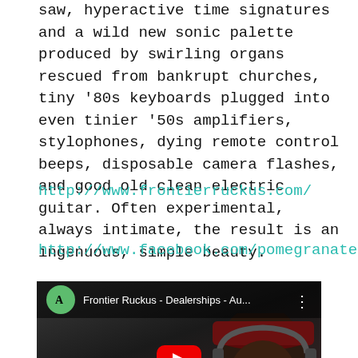saw, hyperactive time signatures and a wild new sonic palette produced by swirling organs rescued from bankrupt churches, tiny '80s keyboards plugged into even tinier '50s amplifiers, stylophones, dying remote control beeps, disposable camera flashes, and good old clean electric guitar. Often experimental, always intimate, the result is an ingenuous, simple beauty.
http://www.frontierruckus.com/
http://www.facebook.com/pomegranatesart
[Figure (screenshot): YouTube video thumbnail showing 'Frontier Ruckus - Dealerships - Au...' with a green circle logo, a person wearing a red cap and headphones singing into a microphone, and a red YouTube play button in the center.]